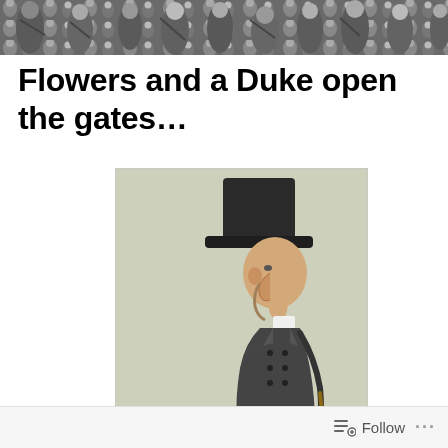[Figure (photo): Black and white photograph of a crowd of people at the top of the page, used as a header banner image.]
Flowers and a Duke open the gates…
[Figure (illustration): Victorian-era color illustration (Vanity Fair style caricature) of a man in profile facing right, wearing a black top hat, dark grey double-breasted coat, with a prominent nose and side-whiskers, holding a cane.]
Follow …